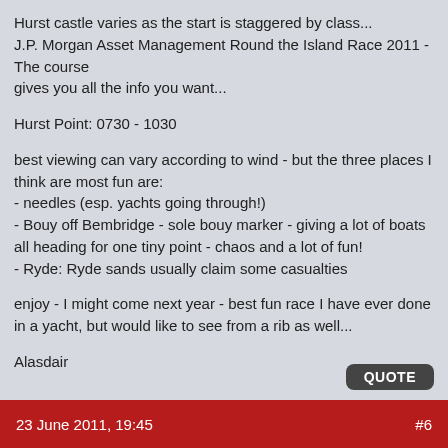Hurst castle varies as the start is staggered by class...
J.P. Morgan Asset Management Round the Island Race 2011 - The course
gives you all the info you want...
Hurst Point: 0730 - 1030
best viewing can vary according to wind - but the three places I think are most fun are:
- needles (esp. yachts going through!)
- Bouy off Bembridge - sole bouy marker - giving a lot of boats all heading for one tiny point - chaos and a lot of fun!
- Ryde: Ryde sands usually claim some casualties
enjoy - I might come next year - best fun race I have ever done in a yacht, but would like to see from a rib as well...
Alasdair
23 June 2011, 19:45   #6